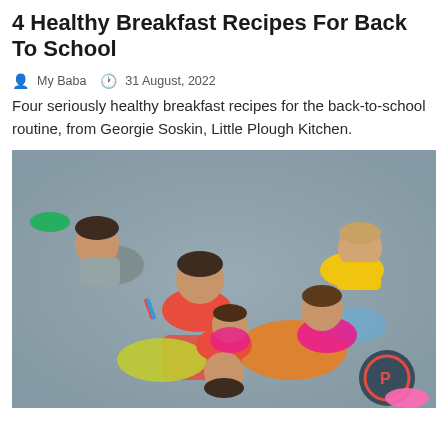4 Healthy Breakfast Recipes For Back To School
My Baba   31 August, 2022
Four seriously healthy breakfast recipes for the back-to-school routine, from Georgie Soskin, Little Plough Kitchen.
[Figure (photo): Group of five children lying on the floor in a circle, smiling and holding pens, wearing colorful clothes including red, yellow, and grey. Background is a grey floor with colorful cushions/beanbags.]